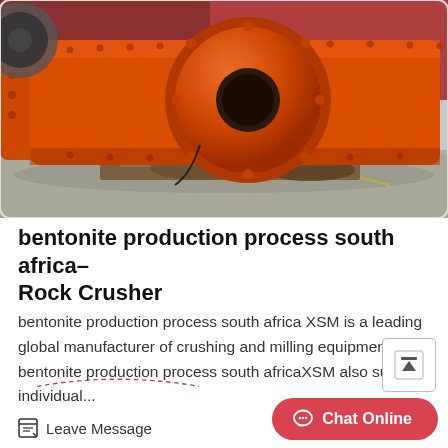[Figure (photo): Large orange industrial ball mill / rock crusher machine lying horizontally on a concrete platform, with red brick building visible in background. The cylindrical orange equipment has flanged ends and studded surfaces.]
bentonite production process south africa– Rock Crusher
bentonite production process south africa XSM is a leading global manufacturer of crushing and milling equipment bentonite production process south africaXSM also supply individual...